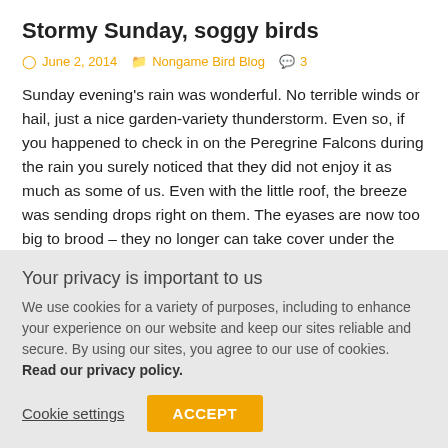Stormy Sunday, soggy birds
June 2, 2014   Nongame Bird Blog   3
Sunday evening's rain was wonderful.  No terrible winds or hail, just a nice garden-variety thunderstorm.   Even so, if you happened to check in on the Peregrine Falcons during the rain you surely noticed that they did not enjoy it as much as some of us.   Even with the little roof, the breeze was sending drops right on them.   The eyases are now too big to brood – they no longer can take cover under the female's body …
Read More »
Your privacy is important to us
We use cookies for a variety of purposes, including to enhance your experience on our website and keep our sites reliable and secure. By using our sites, you agree to our use of cookies. Read our privacy policy.
Cookie settings   ACCEPT